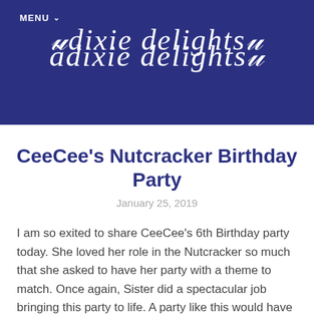MENU
dixie delights
CeeCee's Nutcracker Birthday Party
January 25, 2019
I am so exited to share CeeCee's 6th Birthday party today. She loved her role in the Nutcracker so much that she asked to have her party with a theme to match. Once again, Sister did a spectacular job bringing this party to life. A party like this would have been a dream come true for me as a little girl. (Or as an adult… who am I kidding?!)